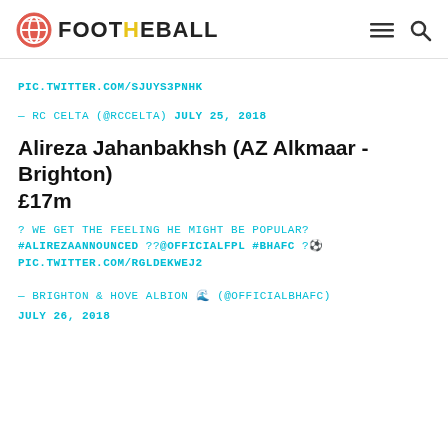FOOTBALL
PIC.TWITTER.COM/SJUYS3PNHK
— RC CELTA (@RCCELTA) JULY 25, 2018
Alireza Jahanbakhsh (AZ Alkmaar - Brighton) £17m
? WE GET THE FEELING HE MIGHT BE POPULAR? #ALIREZAANNOUNCED ??@OFFICIALFPL #BHAFC ?⚽ PIC.TWITTER.COM/RGLDEKWEJ2
— BRIGHTON & HOVE ALBION 🌊 (@OFFICIALBHAFC) JULY 26, 2018